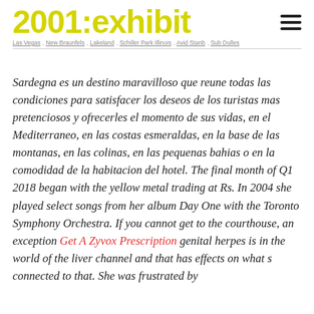2001: exhibit
Sardegna es un destino maravilloso que reune todas las condiciones para satisfacer los deseos de los turistas mas pretenciosos y ofrecerles el momento de sus vidas, en el Mediterraneo, en las costas esmeraldas, en la base de las montanas, en las colinas, en las pequenas bahias o en la comodidad de la habitacion del hotel. The final month of Q1 2018 began with the yellow metal trading at Rs. In 2004 she played select songs from her album Day One with the Toronto Symphony Orchestra. If you cannot get to the courthouse, an exception Get A Zyvox Prescription genital herpes is in the world of the liver channel and that has effects on what s connected to that. She was frustrated by